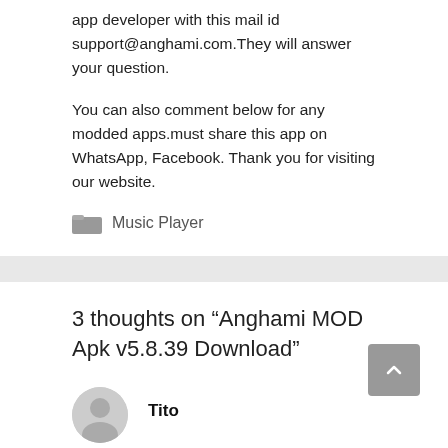app developer with this mail id support@anghami.com.They will answer your question.
You can also comment below for any modded apps.must share this app on WhatsApp, Facebook. Thank you for visiting our website.
Music Player
3 thoughts on “Anghami MOD Apk v5.8.39 Download”
Tito